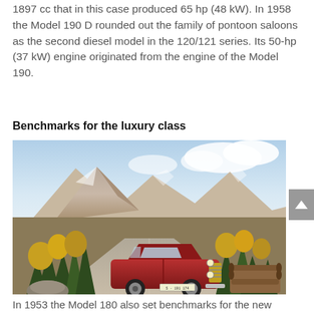1897 cc that in this case produced 65 hp (48 kW). In 1958 the Model 190 D rounded out the family of pontoon saloons as the second diesel model in the 120/121 series. Its 50-hp (37 kW) engine originated from the engine of the Model 190.
Benchmarks for the luxury class
[Figure (photo): A classic red Mercedes-Benz saloon (Model 180/190 era) parked on a mountain road surrounded by autumn trees with a dramatic alpine mountain range in the background and a pile of logs on the right side.]
In 1953 the Model 180 also set benchmarks for the new luxury class vehicles from Mercedes